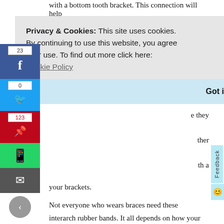with a bottom tooth bracket. This connection will help
your
Privacy & Cookies: This site uses cookies. By continuing to use this website, you agree their use. To find out more click here: Cookie Policy
Got it!
e they
ther
th a
your brackets.
Not everyone who wears braces need these interarch rubber bands. It all depends on how your jaw is currently aligned and what your orthodontist recommends regarding treatment and corrections.